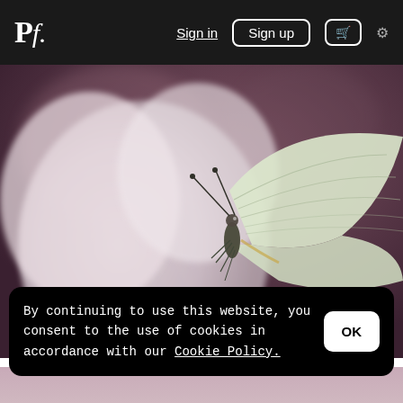Pf. | Sign in | Sign up | [cart] | [settings]
[Figure (photo): Close-up macro photograph of a white/pale green butterfly perched on a white flower, with blurred mauve/purple background]
By continuing to use this website, you consent to the use of cookies in accordance with our Cookie Policy.
OK